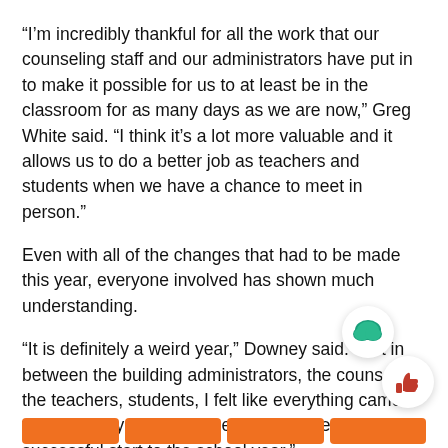“I’m incredibly thankful for all the work that our counseling staff and our administrators have put in to make it possible for us to at least be in the classroom for as many days as we are now,” Greg White said. “I think it’s a lot more valuable and it allows us to do a better job as teachers and students when we have a chance to meet in person.”
Even with all of the changes that had to be made this year, everyone involved has shown much understanding.
“It is definitely a weird year,” Downey said. “But in between the building administrators, the counselors the teachers, students, I felt like everything came together very well and it helped us have a pretty successful start to the school year.”